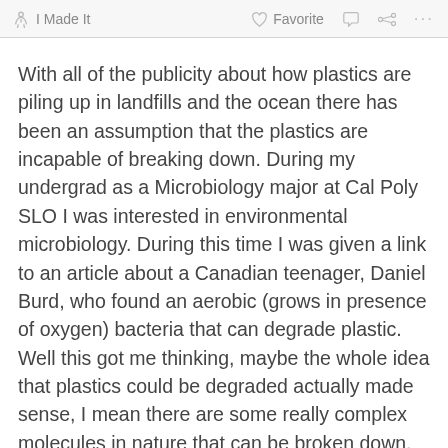I Made It   Favorite   ... ...
With all of the publicity about how plastics are piling up in landfills and the ocean there has been an assumption that the plastics are incapable of breaking down. During my undergrad as a Microbiology major at Cal Poly SLO I was interested in environmental microbiology. During this time I was given a link to an article about a Canadian teenager, Daniel Burd, who found an aerobic (grows in presence of oxygen) bacteria that can degrade plastic. Well this got me thinking, maybe the whole idea that plastics could be degraded actually made sense, I mean there are some really complex molecules in nature that can be broken down, why